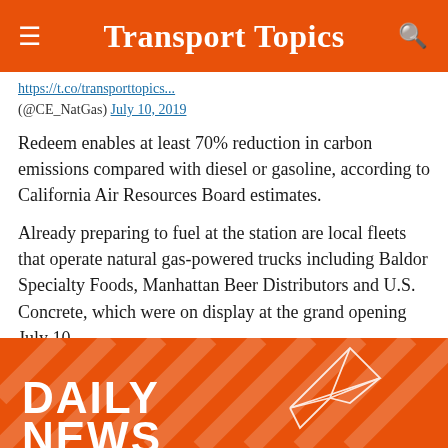Transport Topics
(@CE_NatGas) July 10, 2019
Redeem enables at least 70% reduction in carbon emissions compared with diesel or gasoline, according to California Air Resources Board estimates.
Already preparing to fuel at the station are local fleets that operate natural gas-powered trucks including Baldor Specialty Foods, Manhattan Beer Distributors and U.S. Concrete, which were on display at the grand opening July 10.
Besides Hunts Point, Clean Energy operates natural gas stations in New York City at LaGuardia and JFK airports, and two stations in Brooklyn. — Transport Topics
[Figure (other): Transport Topics Daily News banner with orange background, diagonal stripe pattern, paper airplane illustration, and bold white text reading DAILY NEWS]